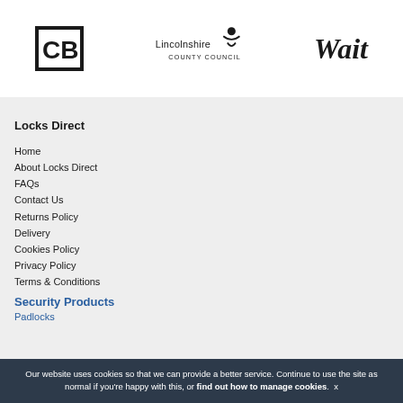[Figure (logo): CB logo — bold stylized letters C and B in a square border]
[Figure (logo): Lincolnshire County Council logo with text and figure icon]
[Figure (logo): Wait logo in bold italic serif font]
Locks Direct
Home
About Locks Direct
FAQs
Contact Us
Returns Policy
Delivery
Cookies Policy
Privacy Policy
Terms & Conditions
Security Products
Padlocks
Our website uses cookies so that we can provide a better service. Continue to use the site as normal if you're happy with this, or find out how to manage cookies. x